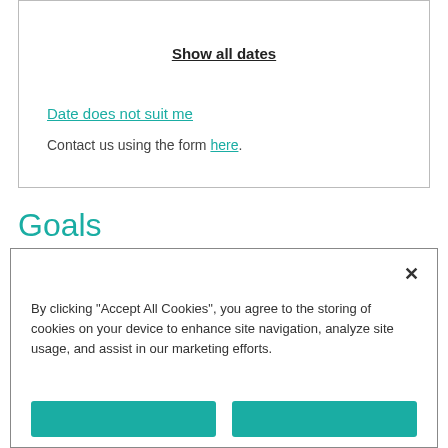Show all dates
Date does not suit me
Contact us using the form here.
Goals
The Configuring Cisco Unified Computing System (DCCUCS) v1.0 shows you how to deploy, secure, operate, and maintain Cisco Unified Computing System (Cisco UCS). Depending upon...
By clicking "Accept All Cookies", you agree to the storing of cookies on your device to enhance site navigation, analyze site usage, and assist in our marketing efforts.